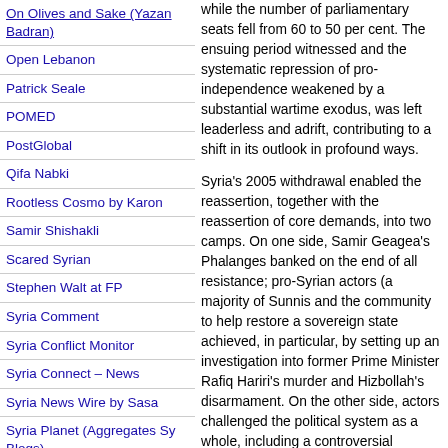On Olives and Sake (Yazan Badran)
Open Lebanon
Patrick Seale
POMED
PostGlobal
Qifa Nabki
Rootless Cosmo by Karon
Samir Shishakli
Scared Syrian
Stephen Walt at FP
Syria Comment
Syria Conflict Monitor
Syria Connect – News
Syria News Wire by Sasa
Syria Planet (Aggregates Sy Blogs)
Syrian Diplomat in America
Syrian History: Moubayed
Syrian Struggle
Syrian TV and Radio
Thara – Womens Rights
The Ajnabi
Thomas Pierret
Toot – Choice M.E. Blogs
TurcoPundit
War in Context
Yves Gonzalez
while the number of parliamentary seats fell from 60 to 50 per cent. The ensuing period witnessed and the systematic repression of pro-independence weakened by a substantial wartime exodus, was left leaderless and adrift, contributing to a shift in its outlook in profound ways.
Syria's 2005 withdrawal enabled the reassertion, together with the reassertion of core demands, into two camps. On one side, Samir Geagea's Phalanges banked on the end of all resistance; pro-Syrian actors (a majority of Sunnis and the community to help restore a sovereign state achieved, in particular, by setting up an investigation into former Prime Minister Rafiq Hariri's murder and Hizbollah's disarmament. On the other side, actors challenged the political system as a whole, including a controversial understanding with Hizbo...
The first camp defined the priority as getting a strong state capable of carrying out certain tasks, argued that its ties to a powerful actor, was the optimal way to address the concerns, claimed that the emergence of an unchallengeable president) would allow a complete overhaul...